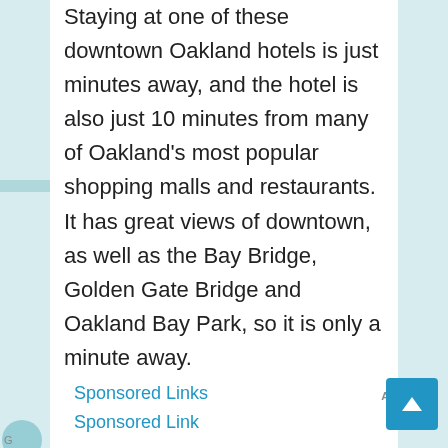Staying at one of these downtown Oakland hotels is just minutes away, and the hotel is also just 10 minutes from many of Oakland's most popular shopping malls and restaurants. It has great views of downtown, as well as the Bay Bridge, Golden Gate Bridge and Oakland Bay Park, so it is only a minute away.
Sponsored Links
Sponsored Link
If you're looking for an affordable hotel, Oakland can offer you a truly luxurious experience or something in between. If you